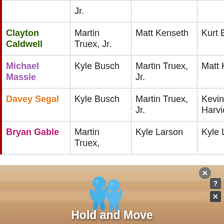|  | Pick 1 | Pick 2 | Pick 3 |
| --- | --- | --- | --- |
|  | Jr. |  |  |
| Clayton Caldwell | Martin Truex, Jr. | Matt Kenseth | Kurt Busch |
| Michael Massie | Kyle Busch | Martin Truex, Jr. | Matt Kenseth |
| Davey Segal | Kyle Busch | Martin Truex, Jr. | Kevin Harvick |
| Bryan Gable | Martin Truex, | Kyle Larson | Kyle Larson |
[Figure (other): Ad overlay at bottom of page showing 'Hold and Move' with cartoon character icons and close buttons]